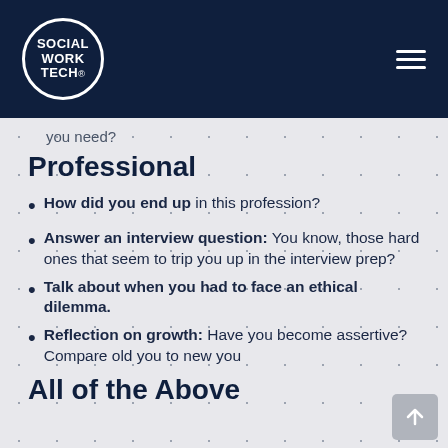Social Work Tech
you need?
Professional
How did you end up in this profession?
Answer an interview question: You know, those hard ones that seem to trip you up in the interview prep?
Talk about when you had to face an ethical dilemma.
Reflection on growth: Have you become assertive? Compare old you to new you
All of the Above